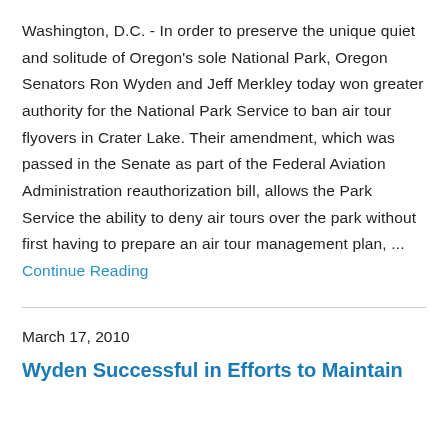Washington, D.C. - In order to preserve the unique quiet and solitude of Oregon's sole National Park, Oregon Senators Ron Wyden and Jeff Merkley today won greater authority for the National Park Service to ban air tour flyovers in Crater Lake. Their amendment, which was passed in the Senate as part of the Federal Aviation Administration reauthorization bill, allows the Park Service the ability to deny air tours over the park without first having to prepare an air tour management plan, ... Continue Reading
March 17, 2010
Wyden Successful in Efforts to Maintain